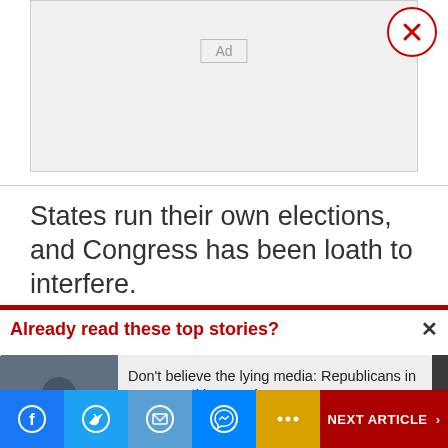[Figure (other): Advertisement placeholder box with 'Ad' label and close (X) button in top right corner]
States run their own elections, and Congress has been loath to interfere.
Already read these top stories?
[Figure (photo): Thumbnail photo of a woman in a dark setting]
Don't believe the lying media: Republicans in strong position to take House, even Senate
[Figure (photo): Thumbnail photo of a man in black and white]
NEXT ARTICLE >